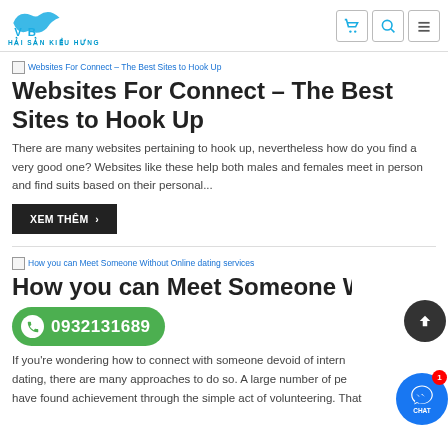HẢI SẢN KIỀU HƯNG (logo with cart, search, menu icons)
[Figure (screenshot): Broken image placeholder for article 'Websites For Connect – The Best Sites to Hook Up']
Websites For Connect – The Best Sites to Hook Up
There are many websites pertaining to hook up, nevertheless how do you find a very good one? Websites like these help both males and females meet in person and find suits based on their personal...
XEM THÊM ›
[Figure (screenshot): Broken image placeholder for article 'How you can Meet Someone Without Online dating services']
How you can Meet Someone Without Online dating services
0932131689
If you're wondering how to connect with someone devoid of internet dating, there are many approaches to do so. A large number of people have found achievement through the simple act of volunteering. That